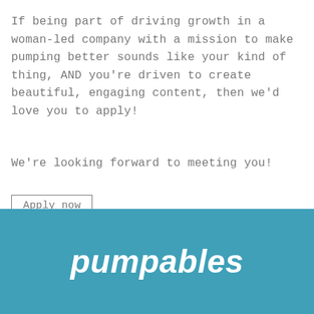If being part of driving growth in a woman-led company with a mission to make pumping better sounds like your kind of thing, AND you're driven to create beautiful, engaging content, then we'd love you to apply!
We're looking forward to meeting you!
Apply now
← Back to blog
[Figure (logo): Pumpables logo in white italic script on teal/blue background]